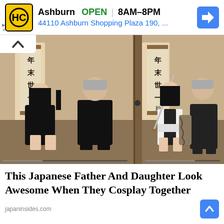[Figure (infographic): Advertisement banner: HC logo (yellow/black), Ashburn OPEN 8AM-8PM, 44110 Ashburn Shopping Plaza 190, ... with a blue direction arrow icon]
[Figure (photo): Two side-by-side photos of a Japanese father and daughter cosplaying together in a traditional Japanese room with hanging scroll calligraphy. Left photo: daughter in black schoolgirl uniform with red bow, father in black suit, both seated formally. Right photo: daughter holding a sword in white/black outfit, father with visible tattoo sleeve in dark kimono.]
This Japanese Father And Daughter Look Awesome When They Cosplay Together
japaninsides.com